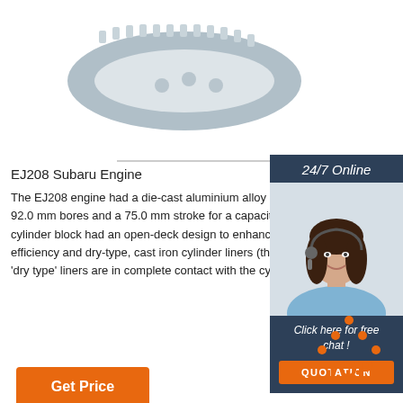[Figure (photo): Metal toothed belt/timing belt product photo on white background]
EJ208 Subaru Engine
The EJ208 engine had a die-cast aluminium alloy cy 92.0 mm bores and a 75.0 mm stroke for a capacity cylinder block had an open-deck design to enhance efficiency and dry-type, cast iron cylinder liners (the 'dry type' liners are in complete contact with the cyli
[Figure (photo): Customer service representative woman with headset smiling, 24/7 Online chat sidebar widget]
Get Price
QUOTATION
[Figure (logo): TOP logo with orange dots arranged in triangle above orange text TOP]